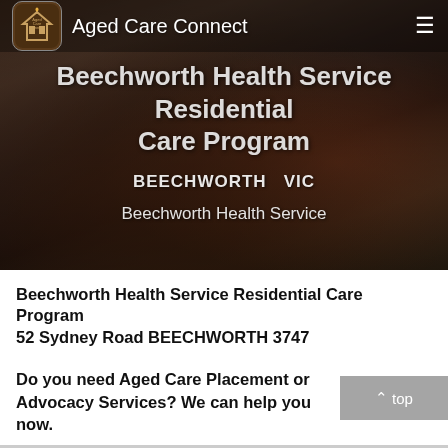[Figure (screenshot): Hero banner showing elderly people at a table, with navigation bar overlay showing Aged Care Connect logo and title, and a hamburger menu icon on the right]
Beechworth Health Service Residential Care Program
BEECHWORTH  VIC
Beechworth Health Service
Beechworth Health Service Residential Care Program
52 Sydney Road BEECHWORTH 3747
Do you need Aged Care Placement or Advocacy Services? We can help you now.